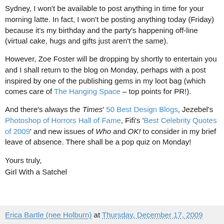Sydney, I won't be available to post anything in time for your morning latte. In fact, I won't be posting anything today (Friday) because it's my birthday and the party's happening off-line (virtual cake, hugs and gifts just aren't the same).
However, Zoe Foster will be dropping by shortly to entertain you and I shall return to the blog on Monday, perhaps with a post inspired by one of the publishing gems in my loot bag (which comes care of The Hanging Space – top points for PR!).
And there's always the Times' 50 Best Design Blogs, Jezebel's Photoshop of Horrors Hall of Fame, Fifi's 'Best Celebrity Quotes of 2009' and new issues of Who and OK! to consider in my brief leave of absence. There shall be a pop quiz on Monday!
Yours truly,
Girl With a Satchel
Erica Bartle (nee Holburn) at Thursday, December 17, 2009